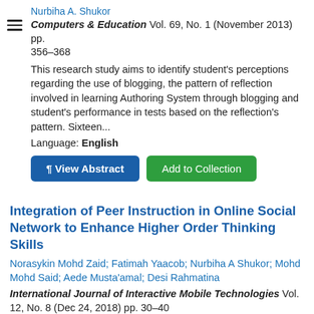Nurbiha A. Shukor
Computers & Education Vol. 69, No. 1 (November 2013) pp. 356–368
This research study aims to identify student's perceptions regarding the use of blogging, the pattern of reflection involved in learning Authoring System through blogging and student's performance in tests based on the reflection's pattern. Sixteen...
Language: English
¶ View Abstract
Add to Collection
Integration of Peer Instruction in Online Social Network to Enhance Higher Order Thinking Skills
Norasykin Mohd Zaid; Fatimah Yaacob; Nurbiha A Shukor; Mohd Mohd Said; Aede Musta'amal; Desi Rahmatina
International Journal of Interactive Mobile Technologies Vol. 12, No. 8 (Dec 24, 2018) pp. 30–40
Higher Order Thinking skills (HOTs) are important thinking skills for lifelong learners, active social responsibility and proactive employees in the 21st century. The rapid development of technology in education has made learning anywhere and...